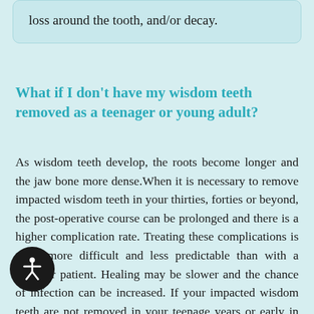loss around the tooth, and/or decay.
What if I don’t have my wisdom teeth removed as a teenager or young adult?
As wisdom teeth develop, the roots become longer and the jaw bone more dense.When it is necessary to remove impacted wisdom teeth in your thirties, forties or beyond, the post-operative course can be prolonged and there is a higher complication rate. Treating these complications is often more difficult and less predictable than with a younger patient. Healing may be slower and the chance of infection can be increased. If your impacted wisdom teeth are not removed in your teenage years or early in your twenties and they are completely impacted in bone, it may be advisable to wait until a localized problem (such as cyst formation or localized gum disease and bone loss) develops. In general, you will heal faster, more predictably and have fewer complications if